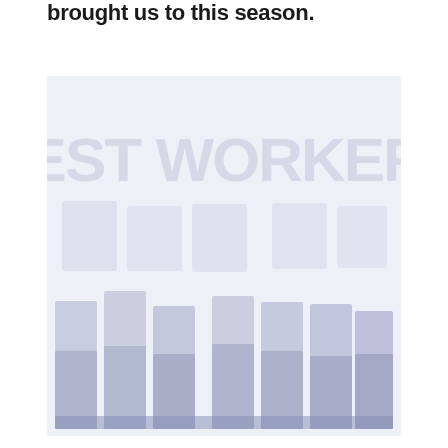brought us to this season.
[Figure (photo): A light blue-tinted photo collage or watermarked image showing what appears to be 'BEST WORKERS' text as a large watermark over a collection of portrait photos arranged in columns at the bottom. The image has a very faint, washed-out appearance with soft blue-gray tones.]